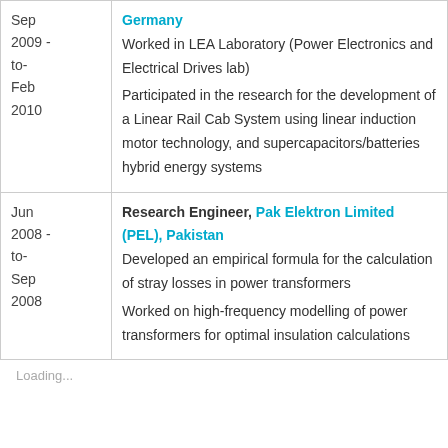| Date | Position/Details |
| --- | --- |
| Sep 2009 - to- Feb 2010 | Germany
Worked in LEA Laboratory (Power Electronics and Electrical Drives lab)
Participated in the research for the development of a Linear Rail Cab System using linear induction motor technology, and supercapacitors/batteries hybrid energy systems |
| Jun 2008 - to- Sep 2008 | Research Engineer, Pak Elektron Limited (PEL), Pakistan
Developed an empirical formula for the calculation of stray losses in power transformers
Worked on high-frequency modelling of power transformers for optimal insulation calculations |
Loading...